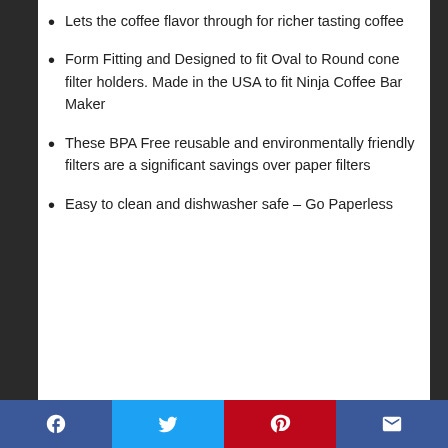Lets the coffee flavor through for richer tasting coffee
Form Fitting and Designed to fit Oval to Round cone filter holders. Made in the USA to fit Ninja Coffee Bar Maker
These BPA Free reusable and environmentally friendly filters are a significant savings over paper filters
Easy to clean and dishwasher safe – Go Paperless